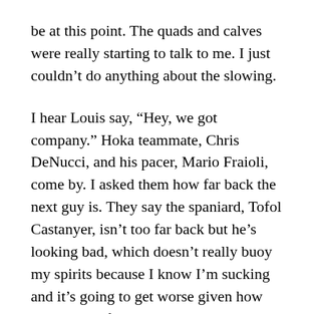be at this point. The quads and calves were really starting to talk to me. I just couldn't do anything about the slowing.
I hear Louis say, “Hey, we got company.” Hoka teammate, Chris DeNucci, and his pacer, Mario Fraioli, come by. I asked them how far back the next guy is. They say the spaniard, Tofol Castanyer, isn’t too far back but he’s looking bad, which doesn’t really buoy my spirits because I know I’m sucking and it’s going to get worse given how my legs are feeling. It was inspiring to see Chris. His upward trajectory in the sport over the last two seasons has produced some amazing results and with the lessons learned from last year’s Western States, it came as no surprise to see him